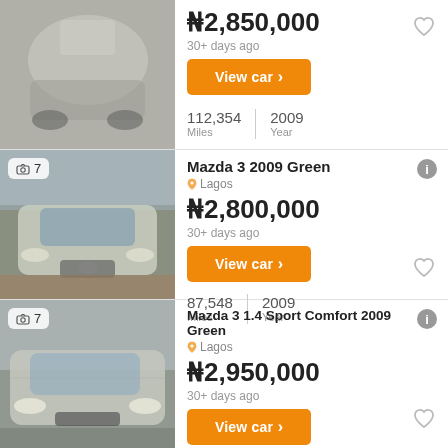[Figure (photo): Top-down/aerial view of a silver/gold car, partial listing card]
₦2,850,000
30+ days ago
View car ›
112,354 Miles | 2009 Year
[Figure (photo): Front view of a green/gold Mazda 3 car parked on dirt road]
Mazda 3 2009 Green
Lagos
₦2,800,000
30+ days ago
View car ›
87,548 Miles | 2009 Year
[Figure (photo): Front angled view of a silver Mazda 3 1.4 Sport Comfort car]
Mazda 3 1.4 Sport Comfort 2009 Green
Lagos
₦2,950,000
30+ days ago
View car ›